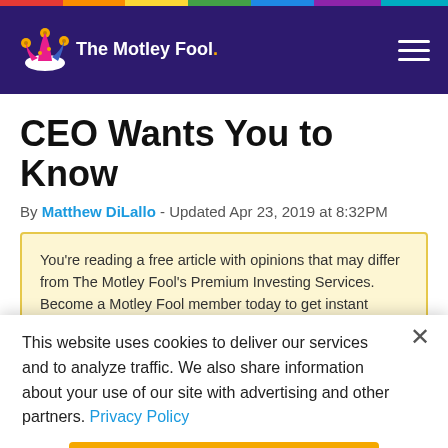The Motley Fool
CEO Wants You to Know
By Matthew DiLallo - Updated Apr 23, 2019 at 8:32PM
You’re reading a free article with opinions that may differ from The Motley Fool’s Premium Investing Services. Become a Motley Fool member today to get instant
This website uses cookies to deliver our services and to analyze traffic. We also share information about your use of our site with advertising and other partners. Privacy Policy
Got it
Cookie Settings